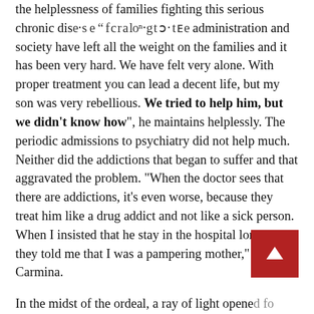the helplessness of families fighting this serious chronic disease "for a long time the administration and society have left all the weight on the families and it has been very hard. We have felt very alone. With proper treatment you can lead a decent life, but my son was very rebellious. We tried to help him, but we didn't know how", he maintains helplessly. The periodic admissions to psychiatry did not help much. Neither did the addictions that began to suffer and that aggravated the problem. "When the doctor sees that there are addictions, it's even worse, because they treat him like a drug addict and not like a sick person. When I insisted that he stay in the hospital longer, they told me that I was a pampering mother," says Carmina.
In the midst of the ordeal, a ray of light opened for her when she met the Valencian Association for